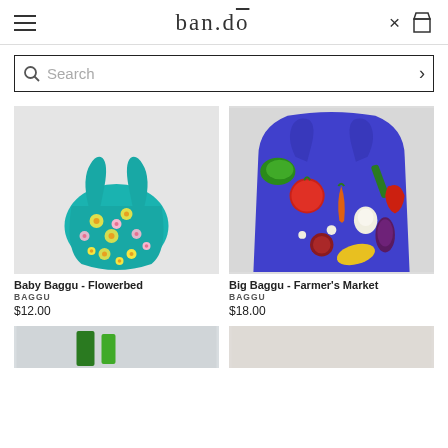ban.dō
Search
[Figure (photo): Baby Baggu Flowerbed tote bag - teal/blue fabric with yellow and pink floral pattern, on grey background]
Baby Baggu - Flowerbed
BAGGU
$12.00
[Figure (photo): Big Baggu Farmer's Market tote bag - blue fabric with colorful vegetable print (tomatoes, carrots, lettuce, garlic), on light background]
Big Baggu - Farmer's Market
BAGGU
$18.00